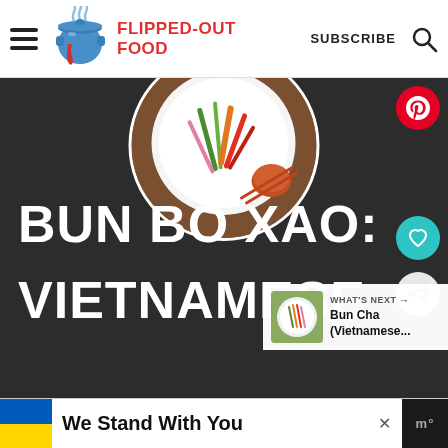Flipped-Out Food | SUBSCRIBE
[Figure (screenshot): Website screenshot of Flipped-Out Food blog showing Bun Bo Xao Vietnamese recipe page with food photo, title text, Pinterest/heart/share buttons, and What's Next panel for Bun Cha Vietnamese recipe]
BUN BO XAO: VIETNAMESE
WHAT'S NEXT → Bun Cha (Vietnamese...
We Stand With You